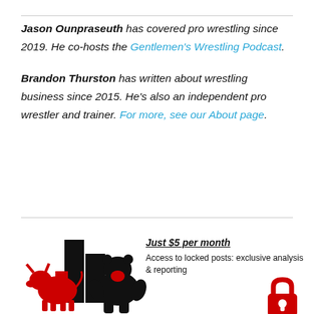Jason Ounpraseuth has covered pro wrestling since 2019. He co-hosts the Gentlemen's Wrestling Podcast.
Brandon Thurston has written about wrestling business since 2015. He's also an independent pro wrestler and trainer. For more, see our About page.
[Figure (logo): Wrestling business logo with bull and bear silhouettes flanking bar chart bars in black and red]
Just $5 per month
Access to locked posts: exclusive analysis & reporting
[Figure (illustration): Red padlock icon]